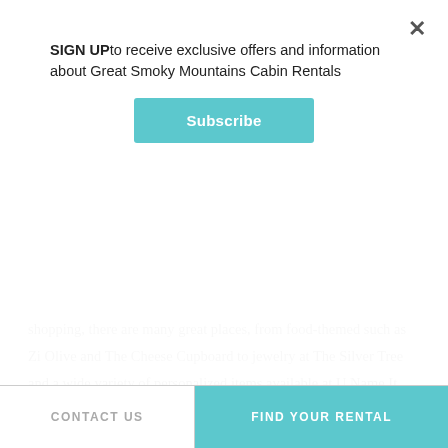SIGN UP to receive exclusive offers and information about Great Smoky Mountains Cabin Rentals
Subscribe
shopping, there are many great places, from food-themed such as Zi Olive and The Cheese Cupboard to jewelry at The Silver Tree and a wide variety of personalized items available at U Name It. No matter what you are looking for, the Village Shops is sure to have it and is one of the best destinations in Gatlinburg, rain or shine!
Gatlinburg is a fantastic vacation destination, and a rainy day or two certainly isn't going to ruin your fun here!
CONTACT US
FIND YOUR RENTAL